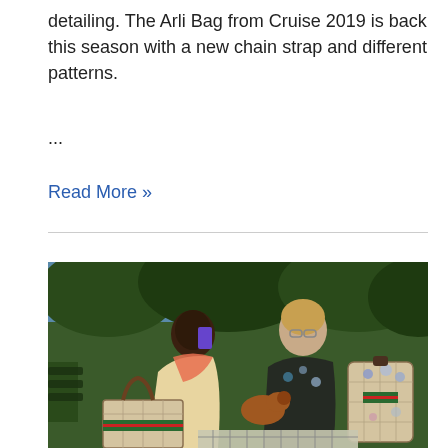detailing. The Arli Bag from Cruise 2019 is back this season with a new chain strap and different patterns.
...
Read More »
[Figure (photo): Two fashion models sitting on a park bench outdoors with trees in background. One model holds a phone, the other holds a small dog. Several Gucci GG monogram bags are visible including a tote and a floral-printed backpack. A plaid blanket is in the foreground.]